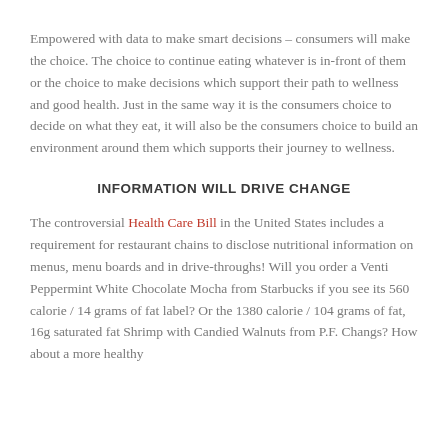Empowered with data to make smart decisions – consumers will make the choice. The choice to continue eating whatever is in-front of them or the choice to make decisions which support their path to wellness and good health. Just in the same way it is the consumers choice to decide on what they eat, it will also be the consumers choice to build an environment around them which supports their journey to wellness.
INFORMATION WILL DRIVE CHANGE
The controversial Health Care Bill in the United States includes a requirement for restaurant chains to disclose nutritional information on menus, menu boards and in drive-throughs! Will you order a Venti Peppermint White Chocolate Mocha from Starbucks if you see its 560 calorie / 14 grams of fat label? Or the 1380 calorie / 104 grams of fat, 16g saturated fat Shrimp with Candied Walnuts from P.F. Changs? How about a more healthy